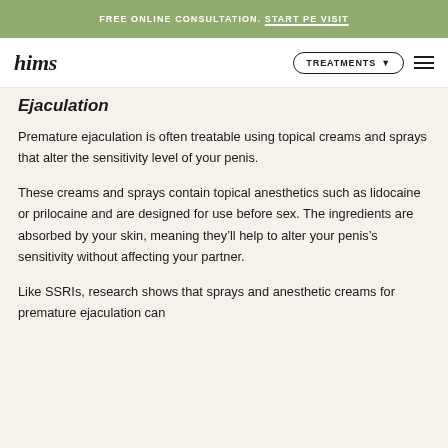FREE ONLINE CONSULTATION. START PE VISIT
hims — TREATMENTS
Ejaculation
Premature ejaculation is often treatable using topical creams and sprays that alter the sensitivity level of your penis.
These creams and sprays contain topical anesthetics such as lidocaine or prilocaine and are designed for use before sex. The ingredients are absorbed by your skin, meaning they'll help to alter your penis's sensitivity without affecting your partner.
Like SSRIs, research shows that sprays and anesthetic creams for premature ejaculation can